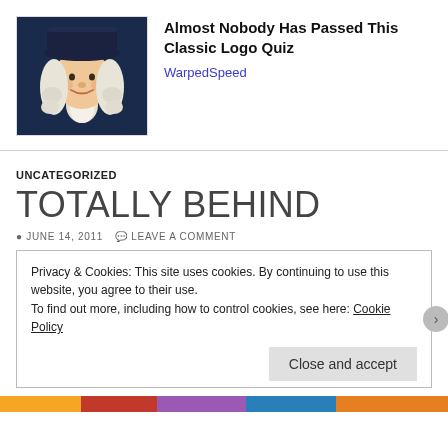[Figure (photo): Quaker Oats mascot illustration — man in colonial-era clothing with white wig and black hat]
Almost Nobody Has Passed This Classic Logo Quiz
WarpedSpeed
UNCATEGORIZED
TOTALLY BEHIND
JUNE 14, 2011   LEAVE A COMMENT
Privacy & Cookies: This site uses cookies. By continuing to use this website, you agree to their use.
To find out more, including how to control cookies, see here: Cookie Policy
Close and accept